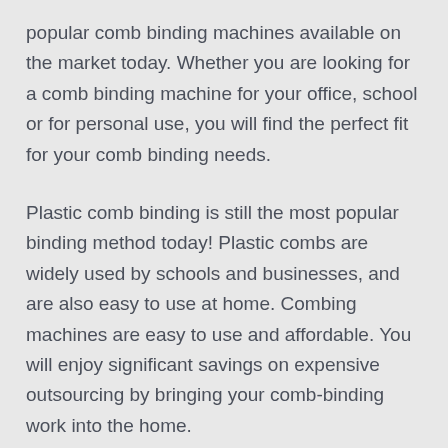popular comb binding machines available on the market today. Whether you are looking for a comb binding machine for your office, school or for personal use, you will find the perfect fit for your comb binding needs.
Plastic comb binding is still the most popular binding method today! Plastic combs are widely used by schools and businesses, and are also easy to use at home. Combing machines are easy to use and affordable. You will enjoy significant savings on expensive outsourcing by bringing your comb-binding work into the home.
Plastic comb binding machines are available in hand or electric stamp. An electric punching machine is